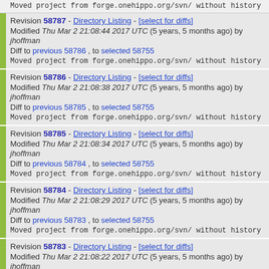Moved project from forge.onehippo.org/svn/ without history
Revision 58787 - Directory Listing - [select for diffs]
Modified Thu Mar 2 21:08:44 2017 UTC (5 years, 5 months ago) by jhoffman
Diff to previous 58786 , to selected 58755
Moved project from forge.onehippo.org/svn/ without history
Revision 58786 - Directory Listing - [select for diffs]
Modified Thu Mar 2 21:08:38 2017 UTC (5 years, 5 months ago) by jhoffman
Diff to previous 58785 , to selected 58755
Moved project from forge.onehippo.org/svn/ without history
Revision 58785 - Directory Listing - [select for diffs]
Modified Thu Mar 2 21:08:34 2017 UTC (5 years, 5 months ago) by jhoffman
Diff to previous 58784 , to selected 58755
Moved project from forge.onehippo.org/svn/ without history
Revision 58784 - Directory Listing - [select for diffs]
Modified Thu Mar 2 21:08:29 2017 UTC (5 years, 5 months ago) by jhoffman
Diff to previous 58783 , to selected 58755
Moved project from forge.onehippo.org/svn/ without history
Revision 58783 - Directory Listing - [select for diffs]
Modified Thu Mar 2 21:08:22 2017 UTC (5 years, 5 months ago) by jhoffman
Diff to previous 58782 , to selected 58755